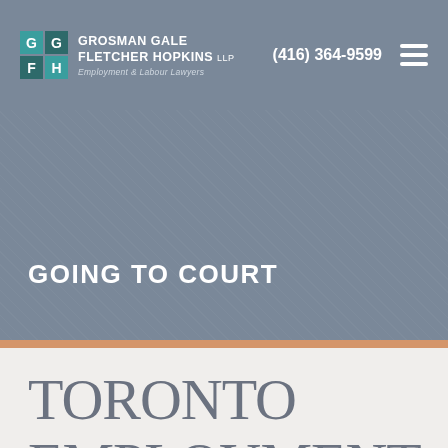Grosman Gale Fletcher Hopkins LLP | Employment & Labour Lawyers | (416) 364-9599
GOING TO COURT
TORONTO EMPLOYMENT LAWYERS